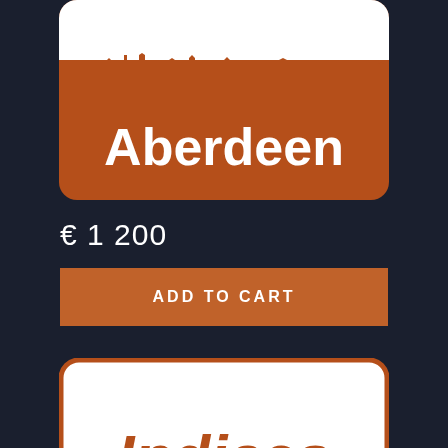[Figure (illustration): Aberdeen city skyline silhouette in white on dark orange/brown rounded rectangle card with 'Aberdeen' text in bold white]
€ 1 200
[Figure (other): Orange 'ADD TO CART' button]
[Figure (illustration): White rounded rectangle card with orange border, containing 'Indices' text in bold orange]